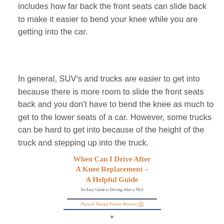includes how far back the front seats can slide back to make it easier to bend your knee while you are getting into the car.
In general, SUV's and trucks are easier to get into because there is more room to slide the front seats back and you don't have to bend the knee as much to get to the lower seats of a car. However, some trucks can be hard to get into because of the height of the truck and stepping up into the truck.
[Figure (illustration): Book cover image for 'When Can I Drive After A Knee Replacement – A Helpful Guide' with subtitle 'An Easy Guide to Driving After a TKA' and publisher 'Physical Therapy Product Reviews']